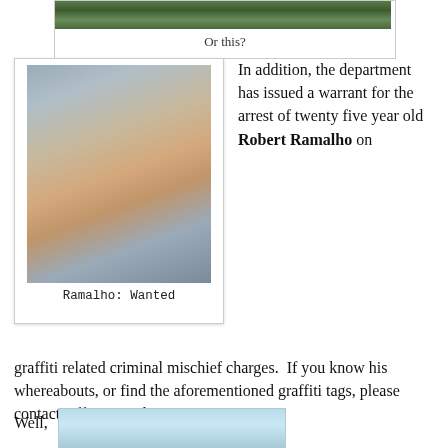Or this?
[Figure (photo): Mugshot photograph of Robert Ramalho]
Ramalho: Wanted
In addition, the department has issued a warrant for the arrest of twenty five year old Robert Ramalho on graffiti related criminal mischief charges.  If you know his whereabouts, or find the aforementioned graffiti tags, please contact Officer Seigle at 7 9 2 5 7 5 4.
Well,
[Figure (photo): Partial image, light blue background, partially visible]